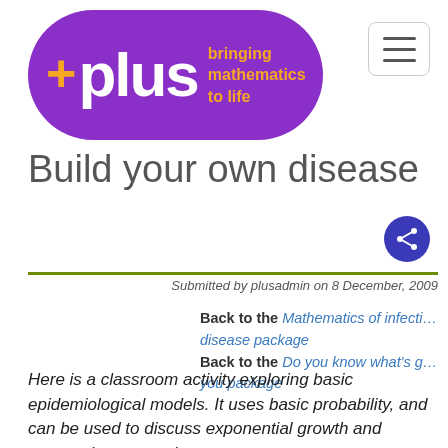[Figure (logo): Plus magazine logo — purple pill-shaped background with white '+plus' text and orange tagline 'bringing mathematics to life']
Build your own disease
Submitted by plusadmin on 8 December, 2009
Back to the Mathematics of infectious disease package
Back to the Do you know what's good for you package
Here is a classroom activity exploring basic epidemiological models. It uses basic probability, and can be used to discuss exponential growth and geometric progressions.